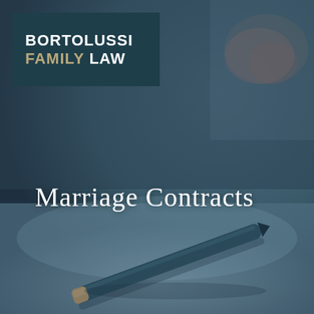[Figure (photo): Dark muted background photo of a pen resting on a surface, tones of dark teal/blue-gray with blurred background elements]
BORTOLUSSI FAMILY LAW
Marriage Contracts